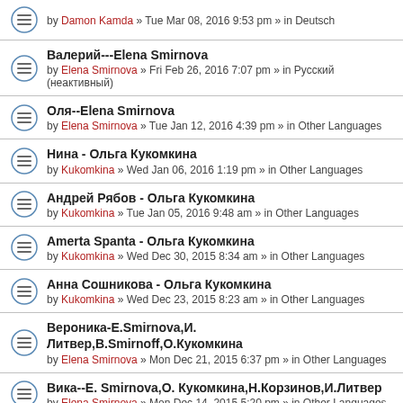by Damon Kamda » Tue Mar 08, 2016 9:53 pm » in Deutsch
Валерий---Elena Smirnova
by Elena Smirnova » Fri Feb 26, 2016 7:07 pm » in Русский (неактивный)
Оля--Elena Smirnova
by Elena Smirnova » Tue Jan 12, 2016 4:39 pm » in Other Languages
Нина - Ольга Кукомкина
by Kukomkina » Wed Jan 06, 2016 1:19 pm » in Other Languages
Андрей Рябов - Ольга Кукомкина
by Kukomkina » Tue Jan 05, 2016 9:48 am » in Other Languages
Amerta Spanta - Ольга Кукомкина
by Kukomkina » Wed Dec 30, 2015 8:34 am » in Other Languages
Анна Сошникова - Ольга Кукомкина
by Kukomkina » Wed Dec 23, 2015 8:23 am » in Other Languages
Вероника-Е.Smirnova,И. Литвер,В.Smirnoff,О.Кукомкина
by Elena Smirnova » Mon Dec 21, 2015 6:37 pm » in Other Languages
Вика--Е. Smirnova,О. Кукомкина,Н.Корзинов,И.Литвер
by Elena Smirnova » Mon Dec 14, 2015 5:20 pm » in Other Languages
Салават Игбаев -- Алексей Манухов
by Alexey Manukhov » Wed Dec 09, 2015 9:57 pm » in Other Languages
Наталия Михальчук-E.Smirnova, В.Smirnov,О.Кукомкина
by Kukomkina » Mon Dec 07, 2015 12:01 pm » in Other Languages
Людмила Душникова-Elena Smirnova